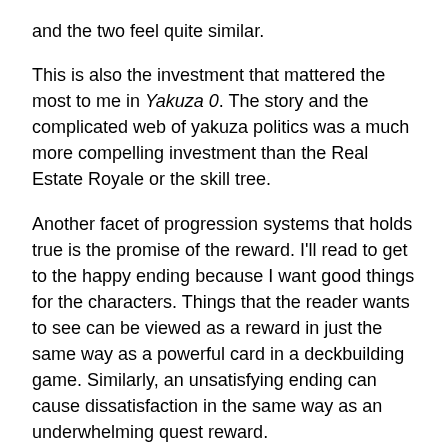and the two feel quite similar.
This is also the investment that mattered the most to me in Yakuza 0. The story and the complicated web of yakuza politics was a much more compelling investment than the Real Estate Royale or the skill tree.
Another facet of progression systems that holds true is the promise of the reward. I'll read to get to the happy ending because I want good things for the characters. Things that the reader wants to see can be viewed as a reward in just the same way as a powerful card in a deckbuilding game. Similarly, an unsatisfying ending can cause dissatisfaction in the same way as an underwhelming quest reward.
Self-Expression
At the end of Lost In Translation, the whispers between